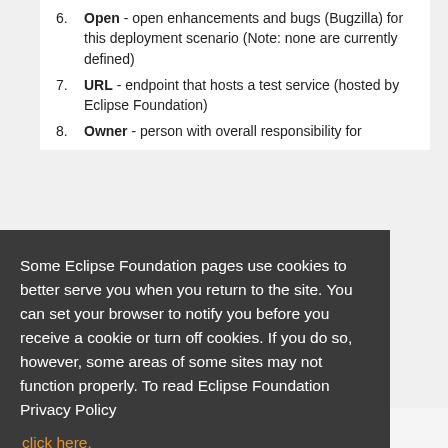6. Open - open enhancements and bugs (Bugzilla) for this deployment scenario (Note: none are currently defined)
7. URL - endpoint that hosts a test service (hosted by Eclipse Foundation)
8. Owner - person with overall responsibility for
Some Eclipse Foundation pages use cookies to better serve you when you return to the site. You can set your browser to notify you before you receive a cookie or turn off cookies. If you do so, however, some areas of some sites may not function properly. To read Eclipse Foundation Privacy Policy click here.
Decline
Allow cookies
About Us